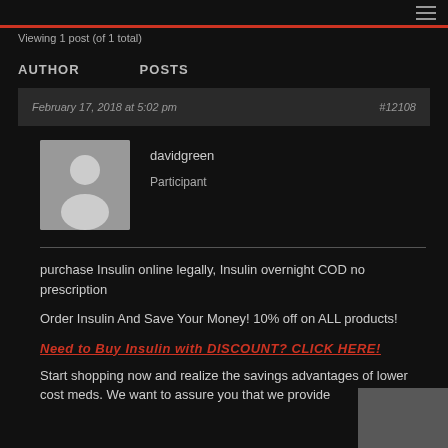Viewing 1 post (of 1 total)
AUTHOR    POSTS
February 17, 2018 at 5:02 pm    #12108
davidgreen
Participant
purchase Insulin online legally, Insulin overnight COD no prescription
Order Insulin And Save Your Money! 10% off on ALL products!
Need to Buy Insulin with DISCOUNT? CLICK HERE!
Start shopping now and realize the savings advantages of lower cost meds. We want to assure you that we provide